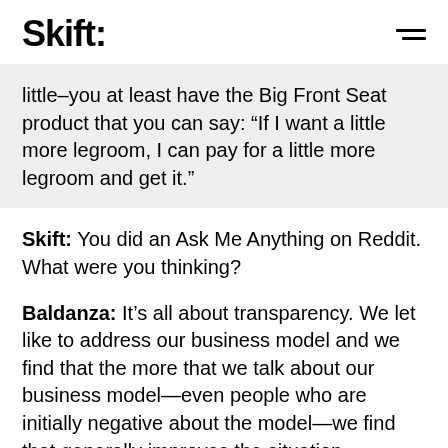Skift
little–you at least have the Big Front Seat product that you can say: “If I want a little more legroom, I can pay for a little more legroom and get it.”
Skift: You did an Ask Me Anything on Reddit. What were you thinking?
Baldanza: It’s all about transparency. We let like to address our business model and we find that the more that we talk about our business model—even people who are initially negative about the model—we find that generally improves the situation.
I’m not going to say that people who hate Spirit